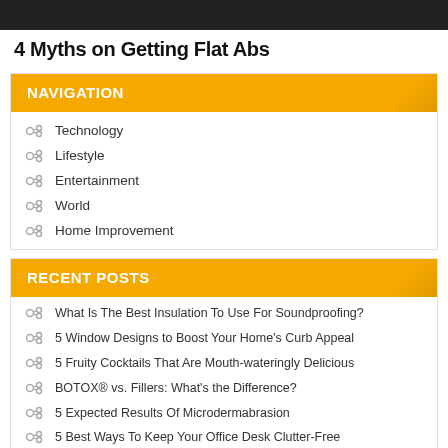[Figure (photo): Dark photo bar at top of page, partial image of a person]
4 Myths on Getting Flat Abs
NAVIGATION
Technology
Lifestyle
Entertainment
World
Home Improvement
RECENT POSTS
What Is The Best Insulation To Use For Soundproofing?
5 Window Designs to Boost Your Home's Curb Appeal
5 Fruity Cocktails That Are Mouth-wateringly Delicious
BOTOX® vs. Fillers: What's the Difference?
5 Expected Results Of Microdermabrasion
5 Best Ways To Keep Your Office Desk Clutter-Free